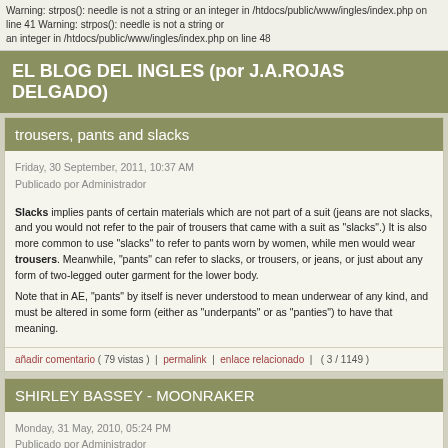Warning: strpos(): needle is not a string or an integer in /htdocs/public/www/ingles/index.php on line 41 Warning: strpos(): needle is not a string or an integer in /htdocs/public/www/ingles/index.php on line 48
EL BLOG DEL INGLES (por J.A.ROJAS DELGADO)
trousers, pants and slacks
Friday, 30 September, 2011, 10:37 AM
Publicado por Administrador
Slacks implies pants of certain materials which are not part of a suit (jeans are not slacks, and you would not refer to the pair of trousers that came with a suit as "slacks".) It is also more common to use "slacks" to refer to pants worn by women, while men would wear trousers. Meanwhile, "pants" can refer to slacks, or trousers, or jeans, or just about any form of two-legged outer garment for the lower body.

Note that in AE, "pants" by itself is never understood to mean underwear of any kind, and must be altered in some form (either as "underpants" or as "panties") to have that meaning.
añadir comentario ( 79 vistas )  |  permalink  |  enlace relacionado  |  ( 3 / 1149 )
SHIRLEY BASSEY - MOONRAKER
Monday, 31 May, 2010, 05:24 PM
Publicado por Administrador
SHIRLEY BASSEY - MOONRAKER